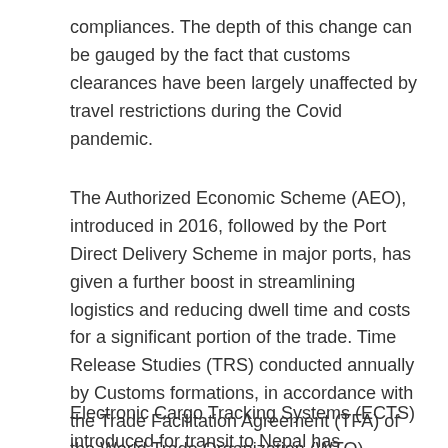compliances. The depth of this change can be gauged by the fact that customs clearances have been largely unaffected by travel restrictions during the Covid pandemic.
The Authorized Economic Scheme (AEO), introduced in 2016, followed by the Port Direct Delivery Scheme in major ports, has given a further boost in streamlining logistics and reducing dwell time and costs for a significant portion of the trade. Time Release Studies (TRS) conducted annually by Customs formations, in accordance with the Trade Facilitation Agreement (TFA) of the World Trade Organization (WTO), measure dwell time with suggestions for further improvements. The National TRS is now conducted the first week of January every year to measure and improve customs processes to bring them in line with the best global standards.
Electronic Cargo Tracking Systems (ECTS) introduced for transit to Nepal has simplified the transit process. Electronic